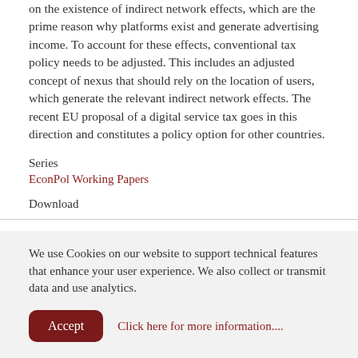on the existence of indirect network effects, which are the prime reason why platforms exist and generate advertising income. To account for these effects, conventional tax policy needs to be adjusted. This includes an adjusted concept of nexus that should rely on the location of users, which generate the relevant indirect network effects. The recent EU proposal of a digital service tax goes in this direction and constitutes a policy option for other countries.
Series
EconPol Working Papers
Download
We use Cookies on our website to support technical features that enhance your user experience. We also collect or transmit data and use analytics.
Accept  Click here for more information....